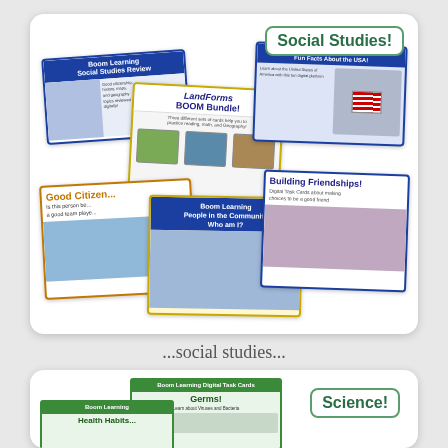[Figure (illustration): Social Studies themed collage of Boom Learning digital task card products including: Social Studies Review, LandForms Boom Bundle, Fun Facts About the USA, Good Citizenship, People in the Community Who am I, and Building Friendships cards, with a 'Social Studies!' label badge in green.]
...social studies...
[Figure (illustration): Science themed collage (partially visible) showing Boom Learning Digital Task Cards for Germs and a partially visible Health card, with a 'Science!' label badge in green.]